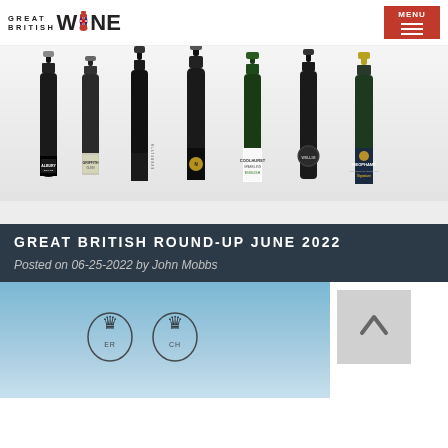Great British Wine — MENU
[Figure (photo): Seven bottles of British sparkling wine lined up including Albury Estate, Everflyth, Naejacobsons, Coolhurst, and Meophams, photographed against a white background]
GREAT BRITISH ROUND-UP JUNE 2022
Posted on 06-25-2022 by John Mobbs
[Figure (photo): Blue sky background with royal crests/emblems visible at the bottom of the image]